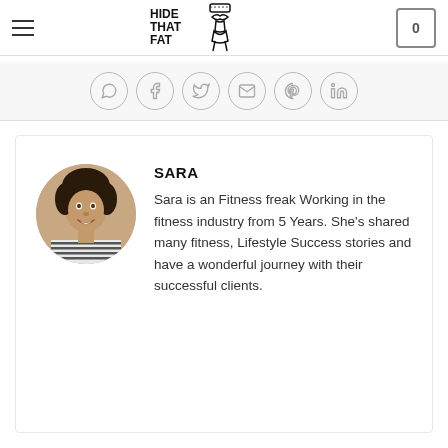HIDE THAT FAT
[Figure (other): Social sharing icons: WhatsApp, Facebook, Twitter, Email, Pinterest, LinkedIn — circular outlined icons in a row]
[Figure (photo): Circular portrait photo of Sara, a woman with curly hair wearing a striped shirt, smiling]
SARA
Sara is an Fitness freak Working in the fitness industry from 5 Years. She's shared many fitness, Lifestyle Success stories and have a wonderful journey with their successful clients.